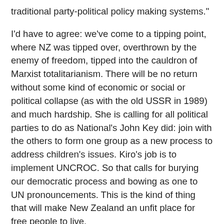traditional party-political policy making systems."
I'd have to agree: we've come to a tipping point, where NZ was tipped over, overthrown by the enemy of freedom, tipped into the cauldron of Marxist totalitarianism. There will be no return without some kind of economic or social or political collapse (as with the old USSR in 1989) and much hardship. She is calling for all political parties to do as National's John Key did: join with the others to form one group as a new process to address children's issues. Kiro's job is to implement UNCROC. So that calls for burying our democratic process and bowing as one to UN pronouncements. This is the kind of thing that will make New Zealand an unfit place for free people to live.
Michael Reid's book "From Innocents to Agents" (Maxim Instititute, Auckland, NZ, 2006) says in the final chapter: "Who's in charge when it comes to children? ...[T]hey are no longer innocents living within the protection of their families, but the state has assumed a new authority and controlling interest in their welfare...If the state has an interest in the child, but parents fail to co-operate, the state is justified in